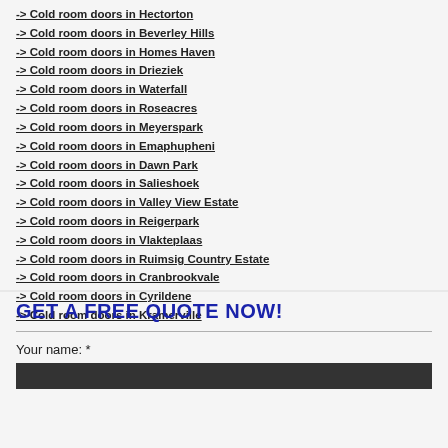-> Cold room doors in Hectorton
-> Cold room doors in Beverley Hills
-> Cold room doors in Homes Haven
-> Cold room doors in Drieziek
-> Cold room doors in Waterfall
-> Cold room doors in Roseacres
-> Cold room doors in Meyerspark
-> Cold room doors in Emaphupheni
-> Cold room doors in Dawn Park
-> Cold room doors in Salieshoek
-> Cold room doors in Valley View Estate
-> Cold room doors in Reigerpark
-> Cold room doors in Vlakteplaas
-> Cold room doors in Ruimsig Country Estate
-> Cold room doors in Cranbrookvale
-> Cold room doors in Cyrildene
-> Cold room doors in Kramerville
GET A FREE QUOTE NOW!
Your name: *